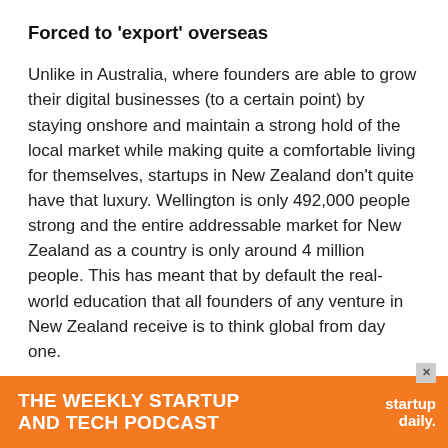Forced to 'export' overseas
Unlike in Australia, where founders are able to grow their digital businesses (to a certain point) by staying onshore and maintain a strong hold of the local market while making quite a comfortable living for themselves, startups in New Zealand don't quite have that luxury. Wellington is only 492,000 people strong and the entire addressable market for New Zealand as a country is only around 4 million people. This has meant that by default the real-world education that all founders of any venture in New Zealand receive is to think global from day one.
Yes, the Australian startup ecosystem does promote that same focus, but the reality is a startup in a place like Wellington has to find a global market from day one, otherwise it will grow far too slowly to ever be a faster than th...
[Figure (other): Orange advertisement banner for 'The Weekly Startup and Tech Podcast' by Startup Daily, with close button (X) in top right corner.]